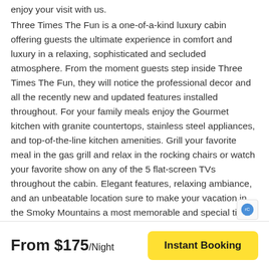enjoy your visit with us.
Three Times The Fun is a one-of-a-kind luxury cabin offering guests the ultimate experience in comfort and luxury in a relaxing, sophisticated and secluded atmosphere. From the moment guests step inside Three Times The Fun, they will notice the professional decor and all the recently new and updated features installed throughout. For your family meals enjoy the Gourmet kitchen with granite countertops, stainless steel appliances, and top-of-the-line kitchen amenities. Grill your favorite meal in the gas grill and relax in the rocking chairs or watch your favorite show on any of the 5 flat-screen TVs throughout the cabin. Elegant features, relaxing ambiance, and an unbeatable location sure to make your vacation in the Smoky Mountains a most memorable and special time. Conveniently located a few miles from downtown Gatlinburg. So come enjoy a stay at Three Times
From $175/Night
Instant Booking